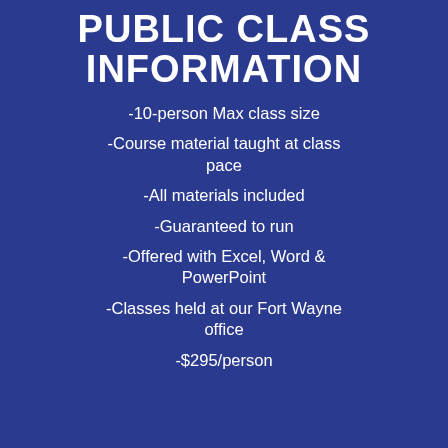PUBLIC CLASS INFORMATION
-10-person Max class size
-Course material taught at class pace
-All materials included
-Guaranteed to run
-Offered with Excel, Word  & PowerPoint
-Classes held at our Fort Wayne office
-$295/person